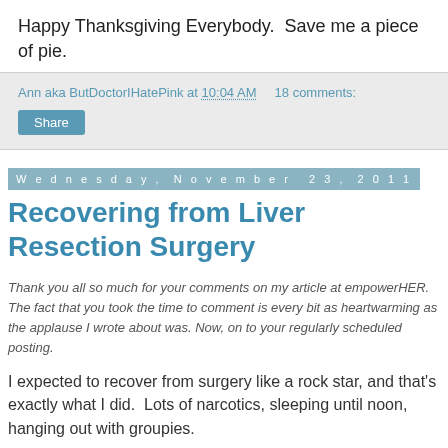Happy Thanksgiving Everybody.  Save me a piece of pie.
Ann aka ButDoctorIHatePink at 10:04 AM    18 comments:
Share
Wednesday, November 23, 2011
Recovering from Liver Resection Surgery
Thank you all so much for your comments on my article at empowerHER.  The fact that you took the time to comment is every bit as heartwarming as the applause I wrote about was. Now, on to your regularly scheduled posting.
I expected to recover from surgery like a rock star, and that's exactly what I did.  Lots of narcotics, sleeping until noon, hanging out with groupies.
Well, maybe not that last part.